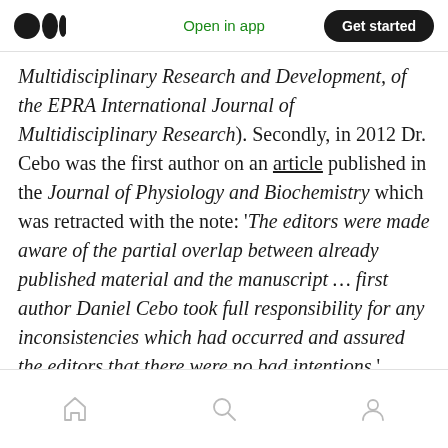Open in app | Get started
Multidisciplinary Research and Development, of the EPRA International Journal of Multidisciplinary Research). Secondly, in 2012 Dr. Cebo was the first author on an article published in the Journal of Physiology and Biochemistry which was retracted with the note: ‘The editors were made aware of the partial overlap between already published material and the manuscript … first author Daniel Cebo took full responsibility for any inconsistencies which had occurred and assured the editors that there were no bad intentions.’
Home | Search | Profile